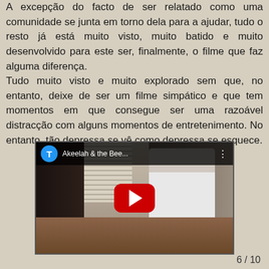A excepção do facto de ser relatado como uma comunidade se junta em torno dela para a ajudar, tudo o resto já está muito visto, muito batido e muito desenvolvido para este ser, finalmente, o filme que faz alguma diferença.
Tudo muito visto e muito explorado sem que, no entanto, deixe de ser um filme simpático e que tem momentos em que consegue ser uma razoável distracção com alguns momentos de entretenimento. No entanto, tão depressa se vê como depressa se esquece.
[Figure (screenshot): YouTube video embed showing 'Akeelah & the Bee...' with a play button overlay and a scene of a person at a desk.]
6 / 10